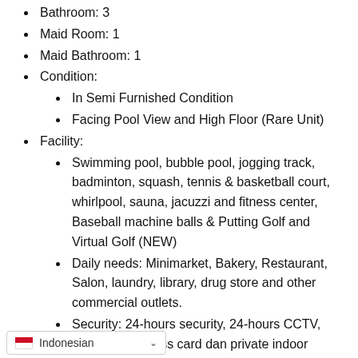Bathroom: 3
Maid Room: 1
Maid Bathroom: 1
Condition:
In Semi Furnished Condition
Facing Pool View and High Floor (Rare Unit)
Facility:
Swimming pool, bubble pool, jogging track, badminton, squash, tennis & basketball court, whirlpool, sauna, jacuzzi and fitness center, Baseball machine balls & Putting Golf and Virtual Golf (NEW)
Daily needs: Minimarket, Bakery, Restaurant, Salon, laundry, library, drug store and other commercial outlets.
Security: 24-hours security, 24-hours CCTV, private lift, access card dan private indoor parking card.
...ouse, restaurants, putting green, ...r Cafe